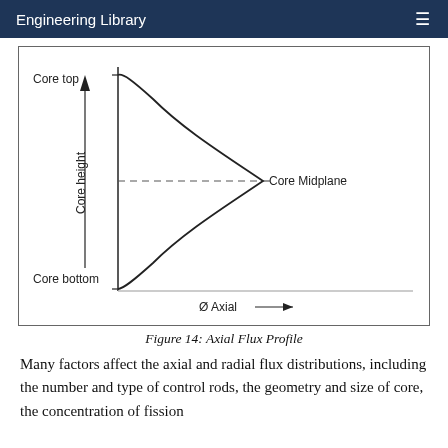Engineering Library
[Figure (engineering-diagram): Axial flux profile diagram showing a cosine-shaped neutron flux curve plotted against core height. The vertical axis represents core height from Core bottom (bottom) to Core top (top) with an upward arrow. The horizontal axis represents Ø Axial with a rightward arrow. A dashed horizontal line marks the Core Midplane at the middle of the core height, where flux is maximum. The flux curve is cosine-shaped peaking at the midplane and tapering to near zero at core top and bottom.]
Figure 14: Axial Flux Profile
Many factors affect the axial and radial flux distributions, including the number and type of control rods, the geometry and size of core, the concentration of fission